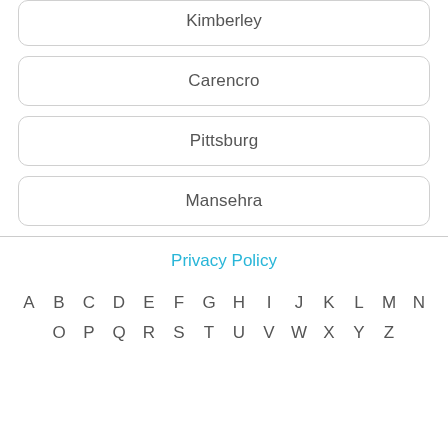Kimberley
Carencro
Pittsburg
Mansehra
Privacy Policy
A B C D E F G H I J K L M N O P Q R S T U V W X Y Z